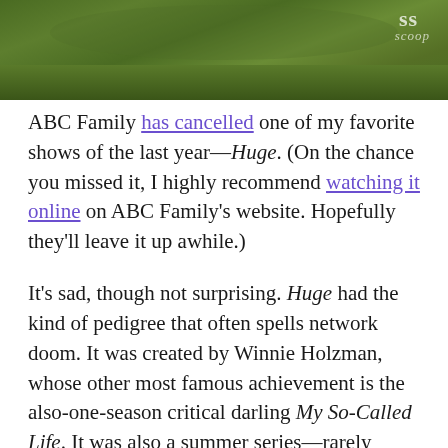[Figure (photo): Partial photo of people lying in green grass, with 'ss scoop' watermark in top-right corner]
ABC Family has cancelled one of my favorite shows of the last year—Huge. (On the chance you missed it, I highly recommend watching it online on ABC Family's website. Hopefully they'll leave it up awhile.)
It's sad, though not surprising. Huge had the kind of pedigree that often spells network doom. It was created by Winnie Holzman, whose other most famous achievement is the also-one-season critical darling My So-Called Life. It was also a summer series—rarely ratings bonanzas—and it only aired on a niche network. Still, that considered, it averaged about 1.9 million viewers over its run, which doesn't sound like a lot until you realize that